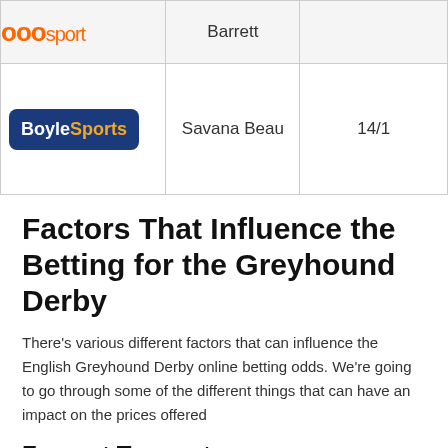| Bookmaker | Selection | Odds |
| --- | --- | --- |
| 888sport | Barrett |  |
| BoyleSports | Savana Beau | 14/1 |
Factors That Influence the Betting for the Greyhound Derby
There's various different factors that can influence the English Greyhound Derby online betting odds. We're going to go through some of the different things that can have an impact on the prices offered
Form at Towcester